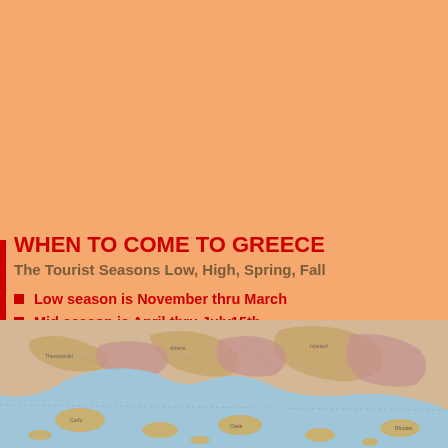WHEN TO COME TO GREECE
The Tourist Seasons Low, High, Spring, Fall
Low season is November thru March
Mid season is April thru July15th
High Season is July 15th thru August (or later depending where you are but Athens, to compete, is cheaper now too)
Fall Season is September & October
Low Season in Greece is Winter (He-mo-nas)
[Figure (map): Map of Greece and surrounding Mediterranean region showing coastlines, islands, and terrain in a colorful geographic style]